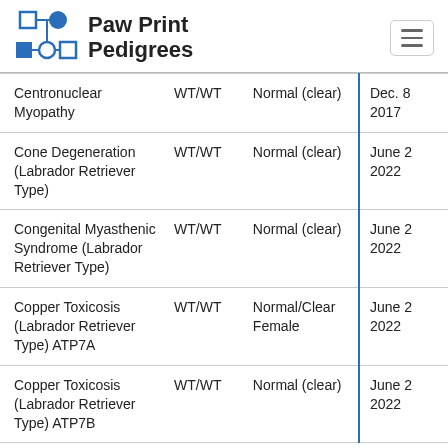Paw Print Pedigrees
| Condition | Genotype | Result | Date |
| --- | --- | --- | --- |
| Centronuclear Myopathy | WT/WT | Normal (clear) | Dec. 8, 2017 |
| Cone Degeneration (Labrador Retriever Type) | WT/WT | Normal (clear) | June 2, 2022 |
| Congenital Myasthenic Syndrome (Labrador Retriever Type) | WT/WT | Normal (clear) | June 2, 2022 |
| Copper Toxicosis (Labrador Retriever Type) ATP7A | WT/WT | Normal/Clear Female | June 2, 2022 |
| Copper Toxicosis (Labrador Retriever Type) ATP7B | WT/WT | Normal (clear) | June 2, 2022 |